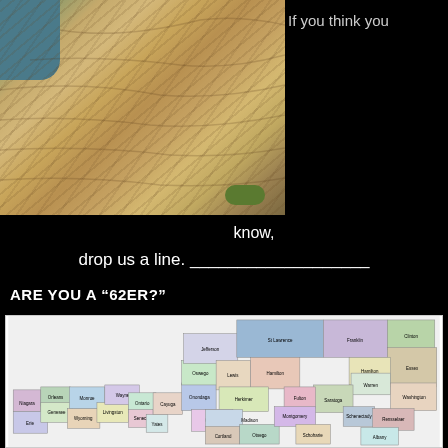[Figure (photo): Photograph of a rocky cliff face with stratified layers, water visible at top left, some vegetation at bottom]
If you think you know, drop us a line. ___________________
ARE YOU A “62ER?”
[Figure (map): Map of New York State showing all 62 counties with different colors and county names labeled, including Clinton, Franklin, St Lawrence, Jefferson, Essex, Lewis, Hamilton, Warren, Oswego, Herkimer, Washington, Oneida, Fulton, Saratoga, Onondaga, Madison, Montgomery, Cayuga, Schoharie, Rensselaer, Cortland, Otsego, Wayne, Monroe, Genesee, Livingston, Ontario, Seneca, Yates, Wyoming, Erie, Niagara, Orleans]